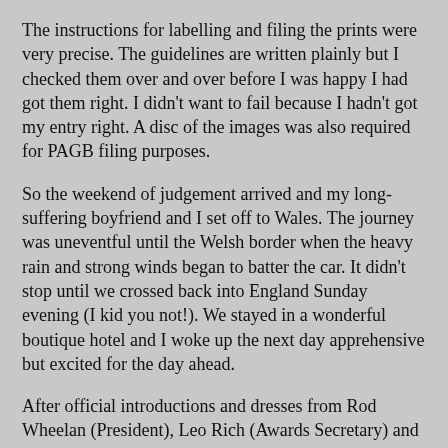The instructions for labelling and filing the prints were very precise. The guidelines are written plainly but I checked them over and over before I was happy I had got them right. I didn't want to fail because I hadn't got my entry right. A disc of the images was also required for PAGB filing purposes.
So the weekend of judgement arrived and my long-suffering boyfriend and I set off to Wales. The journey was uneventful until the Welsh border when the heavy rain and strong winds began to batter the car. It didn't stop until we crossed back into England Sunday evening (I kid you not!). We stayed in a wonderful boutique hotel and I woke up the next day apprehensive but excited for the day ahead.
After official introductions and dresses from Rod Wheelan (President), Leo Rich (Awards Secretary) and Vince Penticost